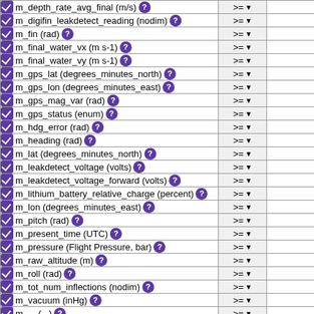| Variable | Operator | Value |
| --- | --- | --- |
| m_depth_rate_avg_final (m/s) ? | >= |  |
| m_digifin_leakdetect_reading (nodim) ? | >= |  |
| m_fin (rad) ? | >= |  |
| m_final_water_vx (m s-1) ? | >= |  |
| m_final_water_vy (m s-1) ? | >= |  |
| m_gps_lat (degrees_minutes_north) ? | >= |  |
| m_gps_lon (degrees_minutes_east) ? | >= |  |
| m_gps_mag_var (rad) ? | >= |  |
| m_gps_status (enum) ? | >= |  |
| m_hdg_error (rad) ? | >= |  |
| m_heading (rad) ? | >= |  |
| m_lat (degrees_minutes_north) ? | >= |  |
| m_leakdetect_voltage (volts) ? | >= |  |
| m_leakdetect_voltage_forward (volts) ? | >= |  |
| m_lithium_battery_relative_charge (percent) ? | >= |  |
| m_lon (degrees_minutes_east) ? | >= |  |
| m_pitch (rad) ? | >= |  |
| m_present_time (UTC) ? | >= |  |
| m_pressure (Flight Pressure, bar) ? | >= |  |
| m_raw_altitude (m) ? | >= |  |
| m_roll (rad) ? | >= |  |
| m_tot_num_inflections (nodim) ? | >= |  |
| m_vacuum (inHg) ? | >= |  |
| m_... (?) ? | >= |  |